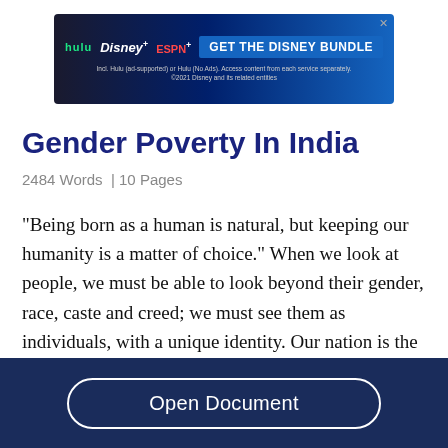[Figure (other): Disney Bundle advertisement banner showing Hulu, Disney+, ESPN+ logos with 'GET THE DISNEY BUNDLE' call to action button and fine print text]
Gender Poverty In India
2484 Words  | 10 Pages
“Being born as a human is natural, but keeping our humanity is a matter of choice.” When we look at people, we must be able to look beyond their gender, race, caste and creed; we must see them as individuals, with a unique identity. Our nation is the
Open Document